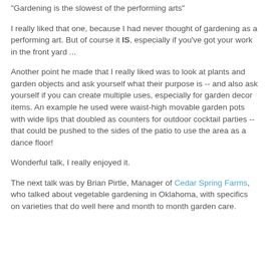"Gardening is the slowest of the performing arts"
I really liked that one, because I had never thought of gardening as a performing art. But of course it IS, especially if you've got your work in the front yard ...
Another point he made that I really liked was to look at plants and garden objects and ask yourself what their purpose is -- and also ask yourself if you can create multiple uses, especially for garden decor items. An example he used were waist-high movable garden pots with wide lips that doubled as counters for outdoor cocktail parties -- that could be pushed to the sides of the patio to use the area as a dance floor!
Wonderful talk, I really enjoyed it.
The next talk was by Brian Pirtle, Manager of Cedar Spring Farms, who talked about vegetable gardening in Oklahoma, with specifics on varieties that do well here and month to month garden care.